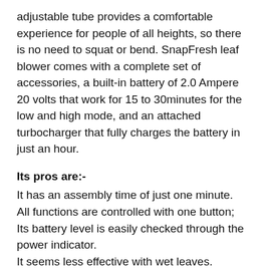adjustable tube provides a comfortable experience for people of all heights, so there is no need to squat or bend. SnapFresh leaf blower comes with a complete set of accessories, a built-in battery of 2.0 Ampere 20 volts that work for 15 to 30minutes for the low and high mode, and an attached turbocharger that fully charges the battery in just an hour.
Its pros are:-
It has an assembly time of just one minute.
All functions are controlled with one button;
Its battery level is easily checked through the power indicator.
It seems less effective with wet leaves.
The SnapFresh cordless leaf blower is as efficient as it is easy to use and ideal for anyone who needs a leaf blower.